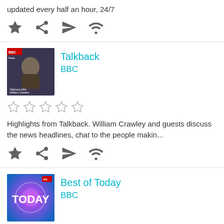updated every half an hour, 24/7
[Figure (infographic): Row of action icons: star, share, send/paper-plane, wifi/cast]
[Figure (infographic): Podcast thumbnail for Talkback With William Crawley - BBC radio show]
Talkback
BBC
[Figure (infographic): Five empty star rating icons]
Highlights from Talkback. William Crawley and guests discuss the news headlines, chat to the people makin...
[Figure (infographic): Row of action icons: star, share, send/paper-plane, wifi/cast]
[Figure (infographic): Podcast thumbnail for Best of Today - BBC Radio 4]
Best of Today
BBC
[Figure (infographic): Five empty star rating icons]
You don't have any episodes in your queue
Start to listen to an episode